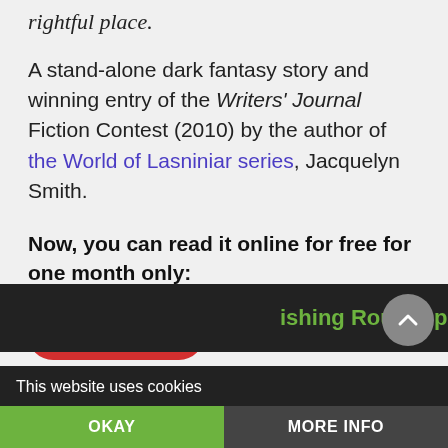rightful place.
A stand-alone dark fantasy story and winning entry of the Writers' Journal Fiction Contest (2010) by the author of the World of Lasniniar series, Jacquelyn Smith.
Now, you can read it online for free for one month only:
Start Reading   Continue reading →
Posted by JACQUELYN in FREE FICTION FEATURE, 0 comments
This website uses cookies
OKAY
MORE INFO
ishing Roundup: New